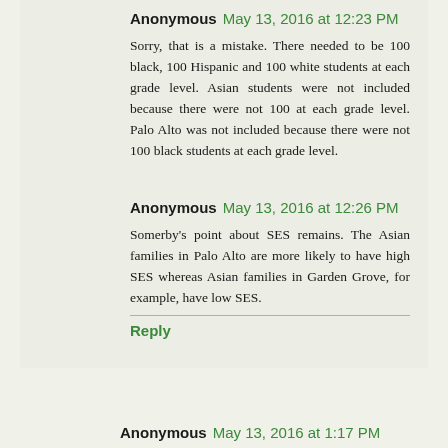Anonymous  May 13, 2016 at 12:23 PM
Sorry, that is a mistake. There needed to be 100 black, 100 Hispanic and 100 white students at each grade level. Asian students were not included because there were not 100 at each grade level. Palo Alto was not included because there were not 100 black students at each grade level.
Anonymous  May 13, 2016 at 12:26 PM
Somerby's point about SES remains. The Asian families in Palo Alto are more likely to have high SES whereas Asian families in Garden Grove, for example, have low SES.
Reply
Anonymous  May 13, 2016 at 1:17 PM